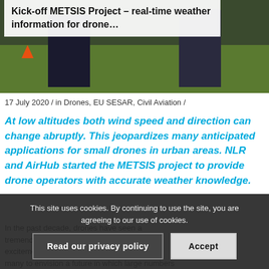[Figure (photo): Outdoor photo showing people standing on grass field, with a cookie/title overlay. Title overlay reads: Kick-off METSIS Project – real-time weather information for drone…]
Kick-off METSIS Project – real-time weather information for drone…
17 July 2020 / in Drones, EU SESAR, Civil Aviation /
At low altitudes both wind speed and direction can change abruptly. This jeopardizes many anticipated applications for small drones in urban areas. NLR and AirHub started the METSIS project to provide drone operators with accurate weather knowledge.
In the past decade, drones have seen a tremendous growth in popularity, driving excitement… have led many to envision a future in which large numbers
This site uses cookies. By continuing to use the site, you are agreeing to our use of cookies.
Read our privacy policy
Accept